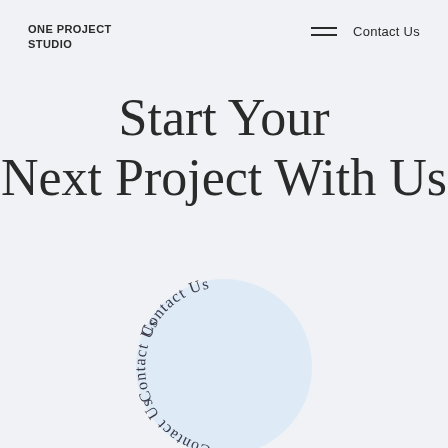ONE PROJECT STUDIO
Contact Us
Start Your Next Project With Us
[Figure (illustration): A light blue circle with the text 'Contact Us' written three times in an arc/circular rotating pattern around the inside of the circle, in dark gray serif font.]